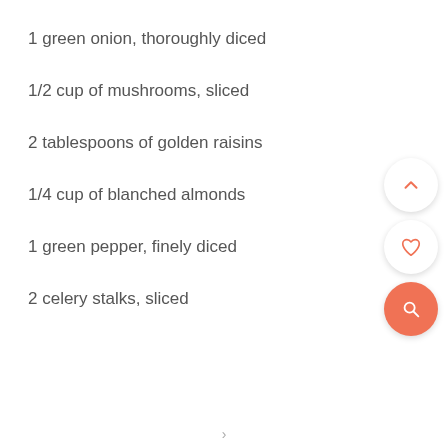1 green onion, thoroughly diced
1/2 cup of mushrooms, sliced
2 tablespoons of golden raisins
1/4 cup of blanched almonds
1 green pepper, finely diced
2 celery stalks, sliced
[Figure (screenshot): Three circular UI buttons on the right side: an up-chevron button (white), a heart/favorite button (white), and a search/magnify button (orange)]